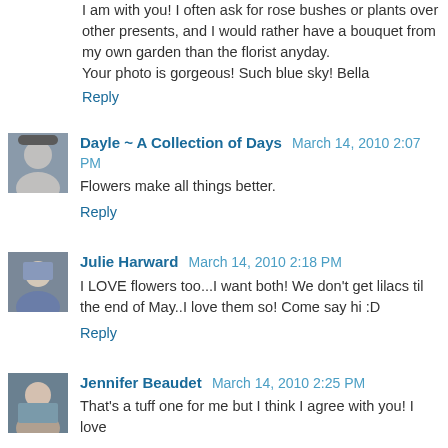I am with you! I often ask for rose bushes or plants over other presents, and I would rather have a bouquet from my own garden than the florist anyday.
Your photo is gorgeous! Such blue sky! Bella
Reply
Dayle ~ A Collection of Days  March 14, 2010 2:07 PM
Flowers make all things better.
Reply
Julie Harward  March 14, 2010 2:18 PM
I LOVE flowers too...I want both! We don't get lilacs til the end of May..I love them so! Come say hi :D
Reply
Jennifer Beaudet  March 14, 2010 2:25 PM
That's a tuff one for me but I think I agree with you! I love